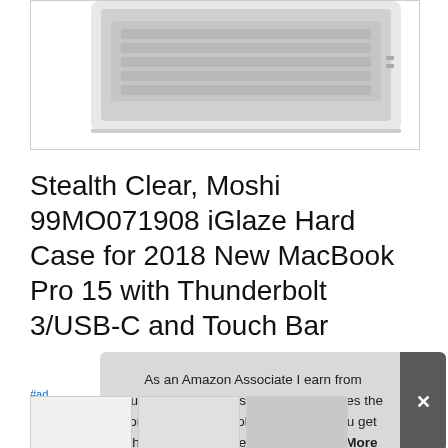[Figure (photo): Partial view of a laptop (MacBook Pro) with silver casing, showing the side ports and keyboard, displayed inside a white bordered product image box.]
Stealth Clear, Moshi 99MO071908 iGlaze Hard Case for 2018 New MacBook Pro 15 with Thunderbolt 3/USB-C and Touch Bar
#ad
As an Amazon Associate I earn from qualifying purchases. This website uses the only necessary cookies to ensure you get the best experience on our website. More information
[Figure (photo): Thumbnail images of product photos at the bottom of the page.]